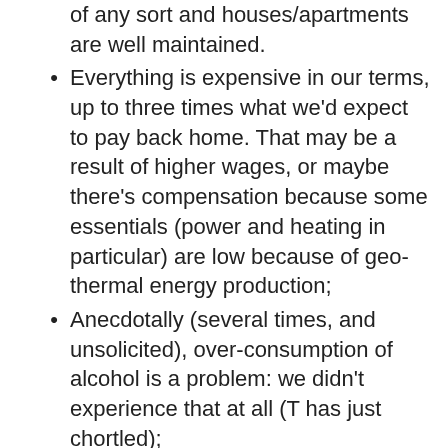of any sort and houses/apartments are well maintained.
Everything is expensive in our terms, up to three times what we’d expect to pay back home. That may be a result of higher wages, or maybe there’s compensation because some essentials (power and heating in particular) are low because of geo-thermal energy production;
Anecdotally (several times, and unsolicited), over-consumption of alcohol is a problem: we didn’t experience that at all (T has just chortled);
Tourism is a (the?) major money earner, but Iceland has a small